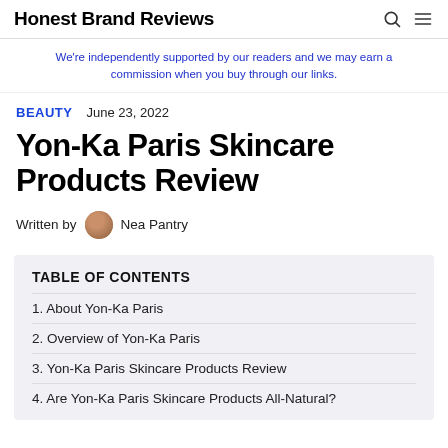Honest Brand Reviews
We're independently supported by our readers and we may earn a commission when you buy through our links.
BEAUTY   June 23, 2022
Yon-Ka Paris Skincare Products Review
Written by Nea Pantry
TABLE OF CONTENTS
1. About Yon-Ka Paris
2. Overview of Yon-Ka Paris
3. Yon-Ka Paris Skincare Products Review
4. Are Yon-Ka Paris Skincare Products All-Natural?